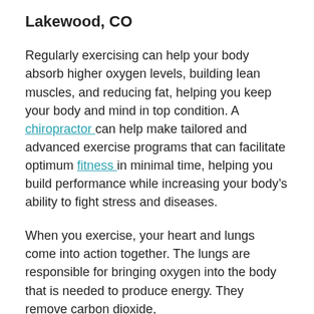Lakewood, CO
Regularly exercising can help your body absorb higher oxygen levels, building lean muscles, and reducing fat, helping you keep your body and mind in top condition. A chiropractor can help make tailored and advanced exercise programs that can facilitate optimum fitness in minimal time, helping you build performance while increasing your body’s ability to fight stress and diseases.
When you exercise, your heart and lungs come into action together. The lungs are responsible for bringing oxygen into the body that is needed to produce energy. They remove carbon dioxide,